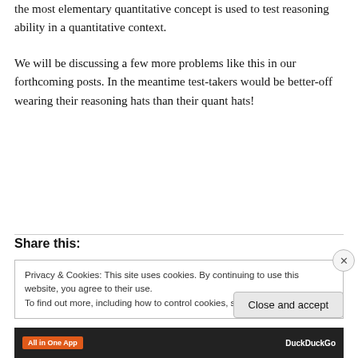the most elementary quantitative concept is used to test reasoning ability in a quantitative context.
We will be discussing a few more problems like this in our forthcoming posts. In the meantime test-takers would be better-off wearing their reasoning hats than their quant hats!
Share this:
Privacy & Cookies: This site uses cookies. By continuing to use this website, you agree to their use.
To find out more, including how to control cookies, see here: Cookie Policy